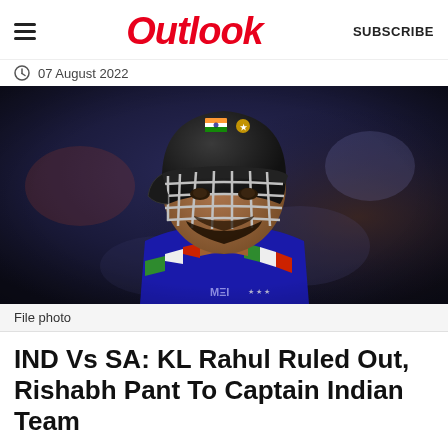Outlook  SUBSCRIBE
07 August 2022
[Figure (photo): A cricket player wearing a dark blue India cricket jersey and a black batting helmet with face guard, looking upward. The BCCI logo and Indian flag are visible on the helmet. The background is blurred with stadium lights.]
File photo
IND Vs SA: KL Rahul Ruled Out, Rishabh Pant To Captain Indian Team
Besides KL Rahul, Kuldeep Yadav will also miss the series against